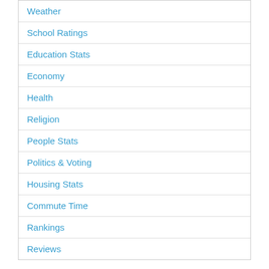Weather
School Ratings
Education Stats
Economy
Health
Religion
People Stats
Politics & Voting
Housing Stats
Commute Time
Rankings
Reviews
Best Places to Live in Terry, Kansas
September, May and June are the most pleasant months in Terry, while January and December are the least